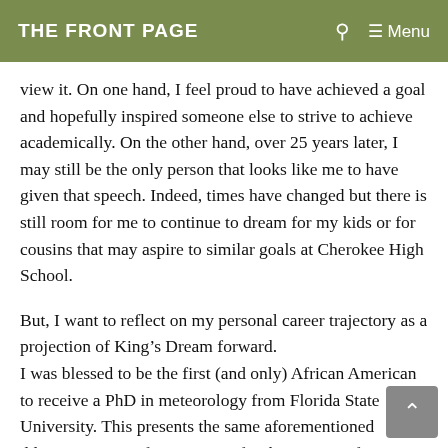THE FRONT PAGE
view it. On one hand, I feel proud to have achieved a goal and hopefully inspired someone else to strive to achieve academically. On the other hand, over 25 years later, I may still be the only person that looks like me to have given that speech. Indeed, times have changed but there is still room for me to continue to dream for my kids or for cousins that may aspire to similar goals at Cherokee High School.
But, I want to reflect on my personal career trajectory as a projection of King's Dream forward.
I was blessed to be the first (and only) African American to receive a PhD in meteorology from Florida State University. This presents the same aforementioned dilemma. It's too far past 1963 for these types of